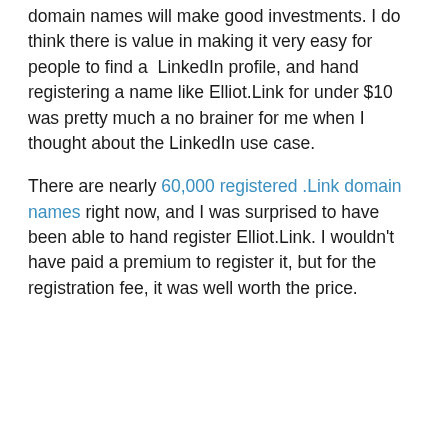domain names will make good investments. I do think there is value in making it very easy for people to find a LinkedIn profile, and hand registering a name like Elliot.Link for under $10 was pretty much a no brainer for me when I thought about the LinkedIn use case.
There are nearly 60,000 registered .Link domain names right now, and I was surprised to have been able to hand register Elliot.Link. I wouldn't have paid a premium to register it, but for the registration fee, it was well worth the price.